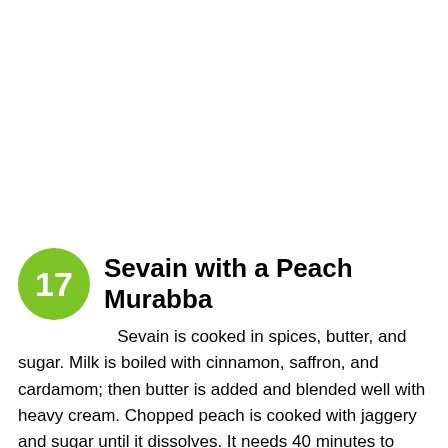17 Sevain with a Peach Murabba
Sevain is cooked in spices, butter, and sugar. Milk is boiled with cinnamon, saffron, and cardamom; then butter is added and blended well with heavy cream. Chopped peach is cooked with jaggery and sugar until it dissolves. It needs 40 minutes to cook and 10 minutes to prepare.